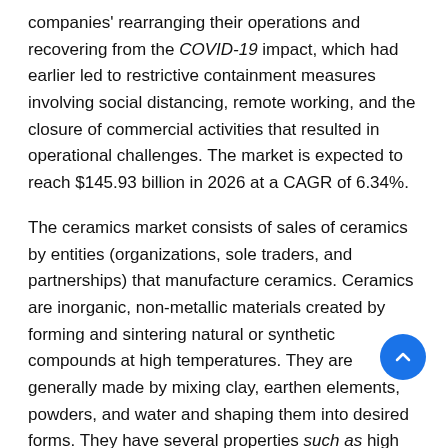companies' rearranging their operations and recovering from the COVID-19 impact, which had earlier led to restrictive containment measures involving social distancing, remote working, and the closure of commercial activities that resulted in operational challenges. The market is expected to reach $145.93 billion in 2026 at a CAGR of 6.34%.
The ceramics market consists of sales of ceramics by entities (organizations, sole traders, and partnerships) that manufacture ceramics. Ceramics are inorganic, non-metallic materials created by forming and sintering natural or synthetic compounds at high temperatures. They are generally made by mixing clay, earthen elements, powders, and water and shaping them into desired forms. They have several properties such as high melting temperatures, chemical inertness, ruggedness, and low thermal and electrical conductivity, and are hence used in diverse applications such as pottery, bricks, tiles, cement, glass, gas turbine engines, and others.
The main types of ceramics are traditional and advanced. Traditional ceramics are derived from common, naturally